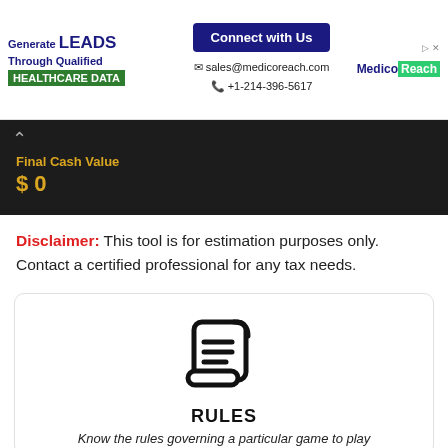[Figure (infographic): MedicoReach advertisement banner with 'Generate LEADS Through Qualified HEALTHCARE DATA', Connect with Us button, sales@medicoreach.com, +1-214-396-5617, and MedicoReach logo]
Final Cash Value
$0
Disclaimer: This tool is for estimation purposes only. Contact a certified professional for any tax needs.
[Figure (illustration): Scroll/document icon representing rules]
RULES
Know the rules governing a particular game to play